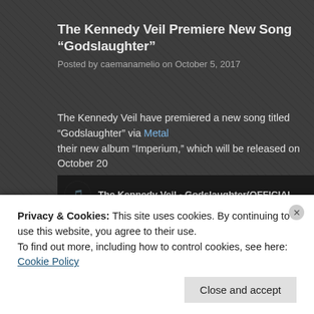The Kennedy Veil Premiere New Song “Godslaughter”
Posted by caemanamelio on October 5, 2017
The Kennedy Veil have premiered a new song titled “Godslaughter” via Metal their new album “Imperium,” which will be released on October 20
[Figure (screenshot): YouTube video embed showing The Kennedy Veil - Godslaughter (OFFICIAL) with thumbnail text PURGE INGEST AND C / THIS FUN AI and a red YouTube play button in the center]
Privacy & Cookies: This site uses cookies. By continuing to use this website, you agree to their use.
To find out more, including how to control cookies, see here: Cookie Policy
Close and accept